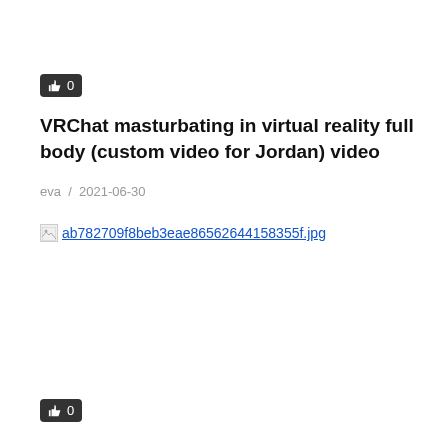[Figure (other): Like/thumbs-up button with count 0, dark background, top position]
VRChat masturbating in virtual reality full body (custom video for Jordan) video
eva / 2021-06-30
[Figure (other): Broken image placeholder with filename: ab782709f8beb3eae86562644158355f.jpg]
[Figure (other): Like/thumbs-up button with count 0, dark background, bottom position]